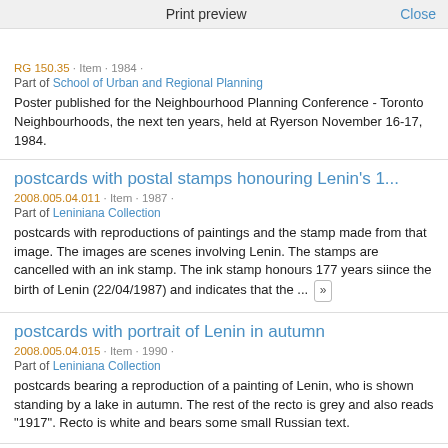Print preview   Close
RG 150.35 · Item · 1984 ·
Part of School of Urban and Regional Planning
Poster published for the Neighbourhood Planning Conference - Toronto Neighbourhoods, the next ten years, held at Ryerson November 16-17, 1984.
postcards with postal stamps honouring Lenin's 1...
2008.005.04.011 · Item · 1987 ·
Part of Leniniana Collection
postcards with reproductions of paintings and the stamp made from that image. The images are scenes involving Lenin. The stamps are cancelled with an ink stamp. The ink stamp honours 177 years siince the birth of Lenin (22/04/1987) and indicates that the ... »
postcards with portrait of Lenin in autumn
2008.005.04.015 · Item · 1990 ·
Part of Leniniana Collection
postcards bearing a reproduction of a painting of Lenin, who is shown standing by a lake in autumn. The rest of the recto is grey and also reads "1917". Recto is white and bears some small Russian text.
Semenov, B.